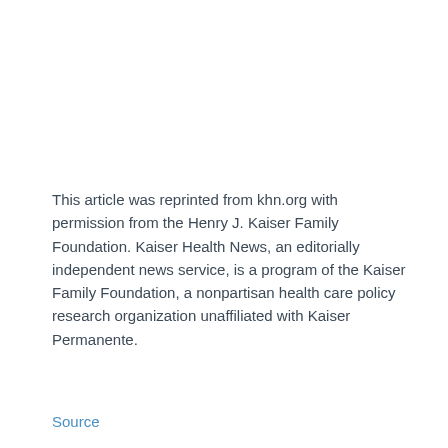This article was reprinted from khn.org with permission from the Henry J. Kaiser Family Foundation. Kaiser Health News, an editorially independent news service, is a program of the Kaiser Family Foundation, a nonpartisan health care policy research organization unaffiliated with Kaiser Permanente.
Source